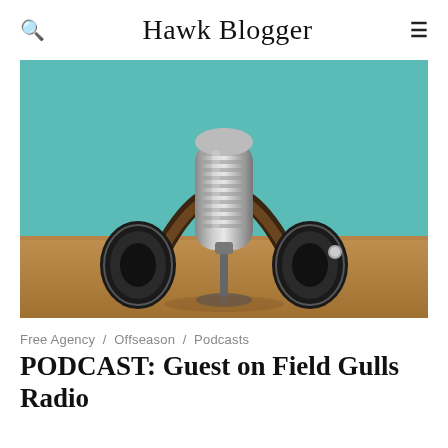Hawk Blogger
[Figure (photo): A vintage silver microphone with black over-ear headphones resting on a wooden surface against a teal background, styled as a podcast/radio setup.]
Free Agency / Offseason / Podcasts
PODCAST: Guest on Field Gulls Radio